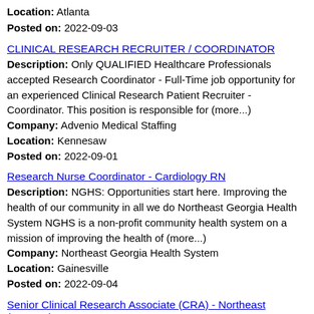Location: Atlanta
Posted on: 2022-09-03
CLINICAL RESEARCH RECRUITER / COORDINATOR
Description: Only QUALIFIED Healthcare Professionals accepted Research Coordinator - Full-Time job opportunity for an experienced Clinical Research Patient Recruiter - Coordinator. This position is responsible for (more...)
Company: Advenio Medical Staffing
Location: Kennesaw
Posted on: 2022-09-01
Research Nurse Coordinator - Cardiology RN
Description: NGHS: Opportunities start here. Improving the health of our community in all we do Northeast Georgia Health System NGHS is a non-profit community health system on a mission of improving the health of (more...)
Company: Northeast Georgia Health System
Location: Gainesville
Posted on: 2022-09-04
Senior Clinical Research Associate (CRA) - Northeast (Remote)
Description: Your time here br br At Parexel, the CRA role offers the opportunity to go beyond the role of a typical clinical monitor. CRA's are accountable for using their expertise to build and maintain the (more...)
Company: PAREXEL